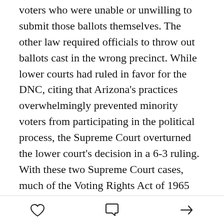voters who were unable or unwilling to submit those ballots themselves. The other law required officials to throw out ballots cast in the wrong precinct. While lower courts had ruled in favor for the DNC, citing that Arizona's practices overwhelmingly prevented minority voters from participating in the political process, the Supreme Court overturned the lower court's decision in a 6-3 ruling. With these two Supreme Court cases, much of the Voting Rights Act of 1965 was rendered impotent.
7. Following winning the 2016 Presidential election, President Donald Trump, without evidence, accused his opponent Hillary Clinton of getting substantial illegal votes (even though
❤ 💬 ↗